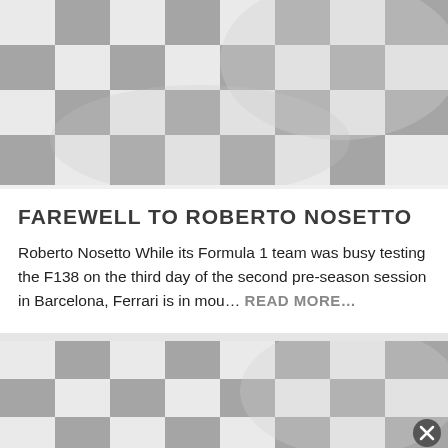[Figure (illustration): Checkered racing flag waving, in grayscale/silver tones, large top image]
FAREWELL TO ROBERTO NOSETTO
Roberto Nosetto While its Formula 1 team was busy testing the F138 on the third day of the second pre-season session in Barcelona, Ferrari is in mou... READ MORE...
[Figure (illustration): Checkered racing flag waving, in grayscale/silver tones, second smaller image, with close button overlay]